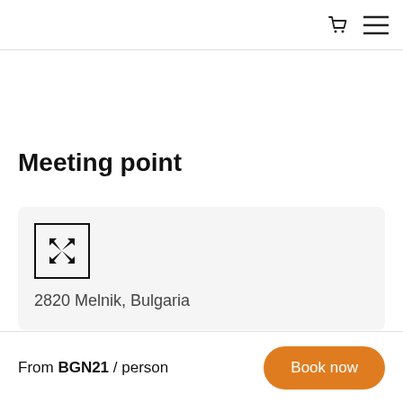Meeting point
2820 Melnik, Bulgaria
From BGN21 / person